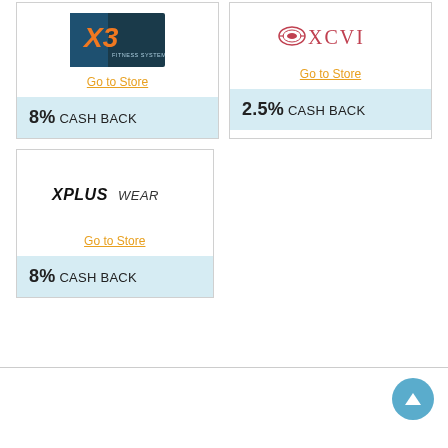[Figure (logo): X3 Fitness System logo — dark blue/teal background with orange X3 text and 'FITNESS SYSTEM' subtitle]
Go to Store
8% CASH BACK
[Figure (logo): XCVI logo — pink/red text with decorative emblem on left]
Go to Store
2.5% CASH BACK
[Figure (logo): XPlusWear logo — italic bold black text reading XPLUSWEAR]
Go to Store
8% CASH BACK